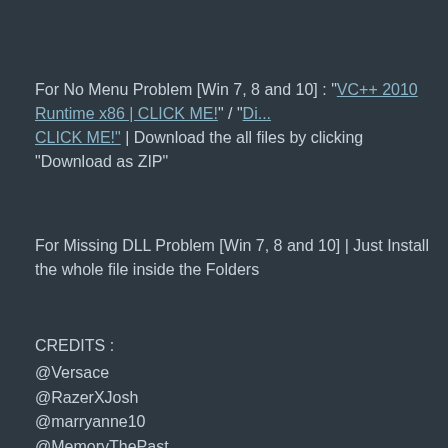For No Menu Problem [Win 7, 8 and 10] : "VC++ 2010 Runtime x86 | CLICK ME!" / "Di... CLICK ME!" | Download the all files by clicking "Download as ZIP"
For Missing DLL Problem [Win 7, 8 and 10] | Just Install the whole file inside the Folders
CREDITS :
@Versace
@RazerXJosh
@marryanne10
@MemoryThePast
@tongzkie
@procharles12
@jay17 (Forum Moderator)
@Mae (Forum Moderator)
@PissedLeecher (Forum Moderator)
@ejhay (Global Moderator)
@Ceballos (Administrator)
@FirstPromise™ (Staff Admin)